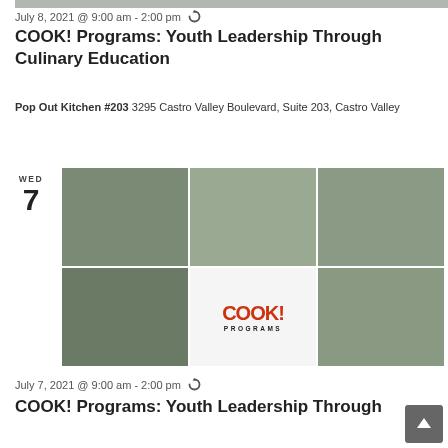[Figure (photo): Top strip photo of cooking program children]
July 8, 2021 @ 9:00 am - 2:00 pm ↺
COOK! Programs: Youth Leadership Through Culinary Education
Pop Out Kitchen #203 3295 Castro Valley Boulevard, Suite 203, Castro Valley
WED
7
[Figure (photo): Collage of COOK! Programs children cooking with COOK! Programs logo in center]
July 7, 2021 @ 9:00 am - 2:00 pm ↺
COOK! Programs: Youth Leadership Through